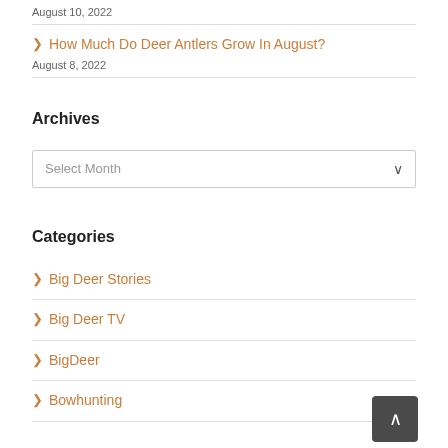August 10, 2022
How Much Do Deer Antlers Grow In August?
August 8, 2022
Archives
Select Month
Categories
Big Deer Stories
Big Deer TV
BigDeer
Bowhunting